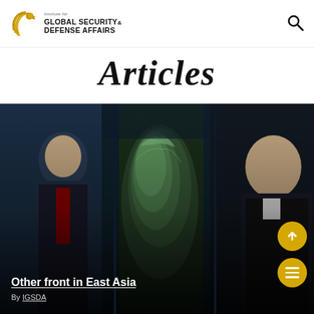[Figure (logo): Institute for Global Security & Defense Affairs eagle logo with text]
Articles
[Figure (photo): Composite image showing Xi Jinping on the left, a satellite/aerial map of Taiwan in the center, and Joe Biden on the right, with dark overlay at bottom containing article title]
Other front in East Asia
By IGSDA